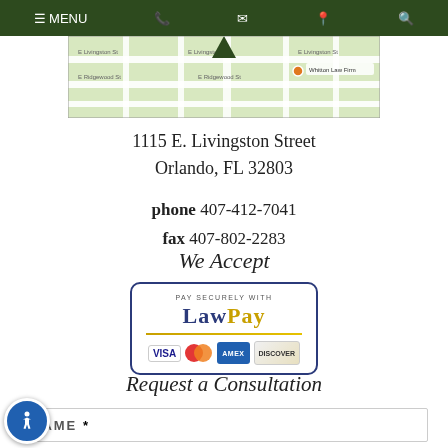MENU (navigation bar with phone, email, location, search icons)
[Figure (map): Street map showing location at 1115 E. Livingston Street, Orlando, FL with a green map pin pointer]
1115 E. Livingston Street
Orlando, FL 32803
phone 407-412-7041
fax 407-802-2283
We Accept
[Figure (logo): LawPay payment logo with credit card icons: Visa, MasterCard, American Express, Discover. Text reads PAY SECURELY WITH LAWPAY]
Request a Consultation
NAME *